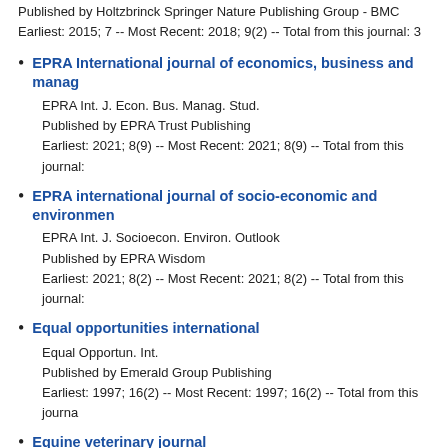EPMA J.
Published by Holtzbrinck Springer Nature Publishing Group - BMC
Earliest: 2015; 7 -- Most Recent: 2018; 9(2) -- Total from this journal: 3
EPRA International journal of economics, business and manag...
EPRA Int. J. Econ. Bus. Manag. Stud.
Published by EPRA Trust Publishing
Earliest: 2021; 8(9) -- Most Recent: 2021; 8(9) -- Total from this journal:
EPRA international journal of socio-economic and environmen...
EPRA Int. J. Socioecon. Environ. Outlook
Published by EPRA Wisdom
Earliest: 2021; 8(2) -- Most Recent: 2021; 8(2) -- Total from this journal:
Equal opportunities international
Equal Opportun. Int.
Published by Emerald Group Publishing
Earliest: 1997; 16(2) -- Most Recent: 1997; 16(2) -- Total from this journa...
Equine veterinary journal
Equine Vet. J.
Published by John Wiley and Sons
Earliest: 1989; 21(2) -- Most Recent: 2022 -- Total from this...